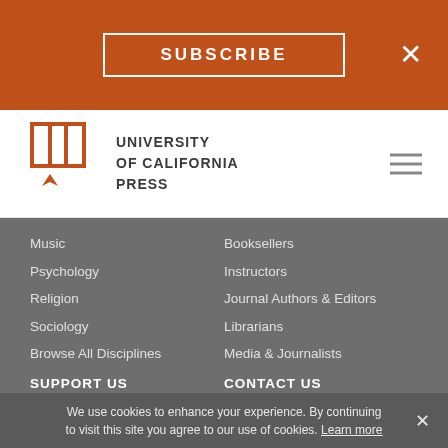SUBSCRIBE
[Figure (logo): University of California Press logo with book icon and text]
Music
Psychology
Religion
Sociology
Browse All Disciplines
SUPPORT US
Endowments
Membership
Planned Giving
Supporters
Booksellers
Instructors
Journal Authors & Editors
Librarians
Media & Journalists
CONTACT US
Acquisitions Editors
Customer Service
Exam/Desk Requests
Media Inquiries
We use cookies to enhance your experience. By continuing to visit this site you agree to our use of cookies. Learn more